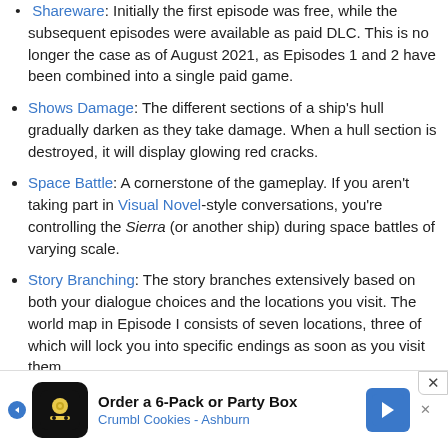Shareware: Initially the first episode was free, while the subsequent episodes were available as paid DLC. This is no longer the case as of August 2021, as Episodes 1 and 2 have been combined into a single paid game.
Shows Damage: The different sections of a ship's hull gradually darken as they take damage. When a hull section is destroyed, it will display glowing red cracks.
Space Battle: A cornerstone of the gameplay. If you aren't taking part in Visual Novel-style conversations, you're controlling the Sierra (or another ship) during space battles of varying scale.
Story Branching: The story branches extensively based on both your dialogue choices and the locations you visit. The world map in Episode I consists of seven locations, three of which will lock you into specific endings as soon as you visit them.
Story Branching... (truncated at bottom)
[Figure (infographic): Advertisement banner for Crumbl Cookies - Ashburn: Order a 6-Pack or Party Box]